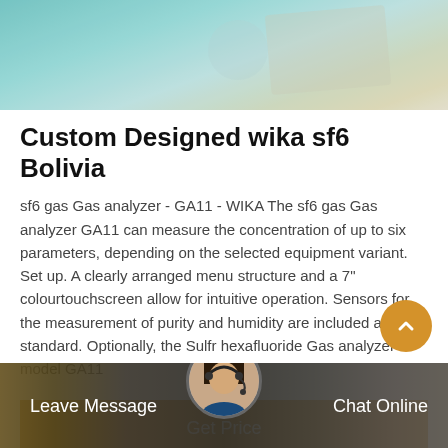[Figure (photo): Top banner photo showing a blurred background with teal/blue tones suggesting an office or industrial environment]
Custom Designed wika sf6 Bolivia
sf6 gas Gas analyzer - GA11 - WIKA The sf6 gas Gas analyzer GA11 can measure the concentration of up to six parameters, depending on the selected equipment variant. Set up. A clearly arranged menu structure and a 7" colourtouchscreen allow for intuitive operation. Sensors for the measurement of purity and humidity are included as standard. Optionally, the Sulfr hexafluoride Gas analyzer model GA11
Get Price
[Figure (photo): Bottom bar with dark background showing a female customer service representative avatar in the center, Leave Message on the left, Chat Online on the right]
Leave Message
Chat Online